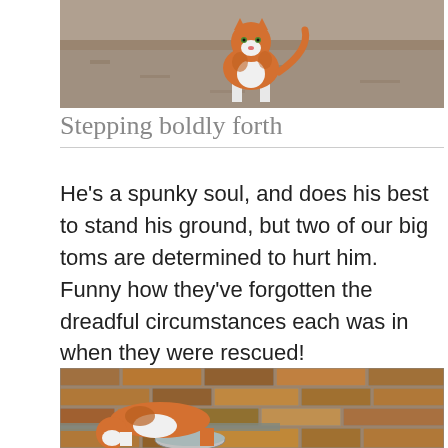[Figure (photo): Orange and white cat standing on sandy/dirt ground, viewed from front, looking up at camera]
Stepping boldly forth
He’s a spunky soul, and does his best to stand his ground, but two of our big toms are determined to hurt him. Funny how they’ve forgotten the dreadful circumstances each was in when they were rescued!
[Figure (photo): Orange and white cat crouching on a flat surface near a metal bowl, with a stone brick wall in the background]